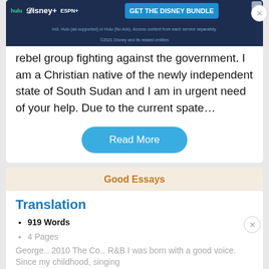[Figure (screenshot): Hulu Disney+ ESPN+ GET THE DISNEY BUNDLE advertisement banner at top of page]
rebel group fighting against the government. I am a Christian native of the newly independent state of South Sudan and I am in urgent need of your help. Due to the current spate…
Read More
Good Essays
Translation
919 Words
4 Pages
George... 2010 The Co... R&B I was born with a good voice. Since my childhood, singing
[Figure (screenshot): Hulu Disney+ ESPN+ GET THE DISNEY BUNDLE advertisement banner at bottom of page]